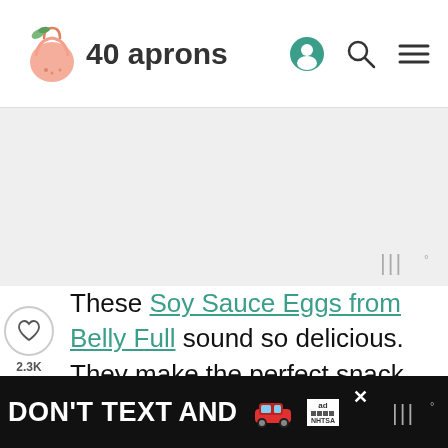40 aprons
[Figure (other): Advertisement banner area (gray background) with small audio/widget indicator icon at bottom right]
These Soy Sauce Eggs from Belly Full sound so delicious. They make the perfect snack with an Asian twist or you can add them to your favorite ramen. In conclusion, amazing flavor with little effort is a win in my book.
[Figure (photo): Circular cropped photo of soy sauce marinated hard boiled eggs cut in half, garnished with sliced green onions, on a white plate]
[Figure (other): Bottom advertisement banner: dark background with text DON'T TEXT AND in white and blue, car emoji, ad badge and NHTSA logo, close X buttons]